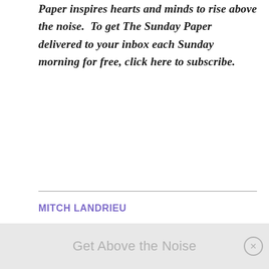Paper inspires hearts and minds to rise above the noise.  To get The Sunday Paper delivered to your inbox each Sunday morning for free, click here to subscribe.
MITCH LANDRIEU
Mitch Landrieu is the former Mayor of New Orleans.  Learn more about E Pluribus Unum at www.unumfund.org. Follow E Pluribus Unum at @unumfund
Get Above the Noise